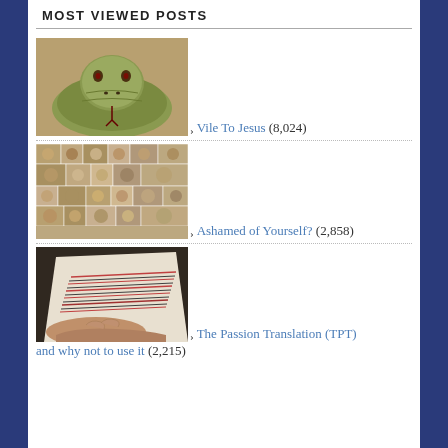MOST VIEWED POSTS
Vile To Jesus (8,024)
Ashamed of Yourself? (2,858)
The Passion Translation (TPT) and why not to use it (2,215)